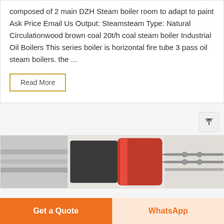composed of 2 main DZH Steam boiler room to adapt to paint Ask Price Email Us Output: Steamsteam Type: Natural Circulationwood brown coal 20t/h coal steam boiler Industrial Oil Boilers This series boiler is horizontal fire tube 3 pass oil steam boilers. the ...
Read More
[Figure (photo): Industrial boiler equipment photo showing pipes, a red cylindrical component, and connected machinery in a facility setting]
Get a Quote
WhatsApp